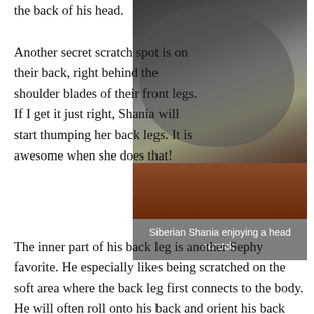the back of his head.
Another secret scratch spot is on their back, right behind the shoulder blades of their front legs. If I get it just right, Shania will start thumping her back legs. It is awesome when she does that!
[Figure (photo): A person with curly hair leaning over a husky dog lying on its back on a dark red rug, scratching the dog's head/chest area.]
Siberian Shania enjoying a head scratch.
The inner part of his back leg is another Sephy favorite. He especially likes being scratched on the soft area where the back leg first connects to the body. He will often roll onto his back and orient his back leg so that I may better serve his